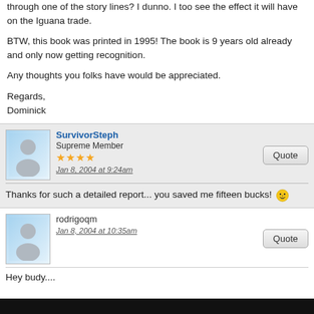through one of the story lines? I dunno. I too see the effect it will have on the Iguana trade.
BTW, this book was printed in 1995! The book is 9 years old already and only now getting recognition.
Any thoughts you folks have would be appreciated.
Regards,
Dominick
SurvivorSteph
Supreme Member
★★★★
Jan 8, 2004 at 9:24am
Thanks for such a detailed report... you saved me fifteen bucks! 😛
rodrigoqm
Jan 8, 2004 at 10:35am
Hey budy....